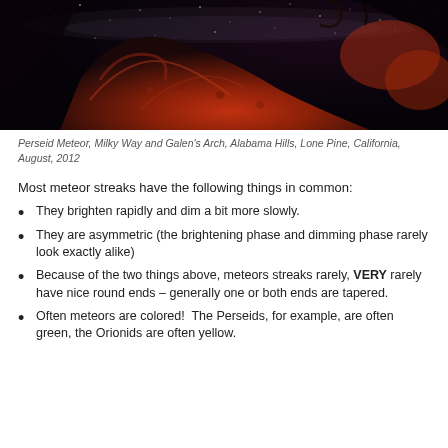[Figure (photo): Night sky photograph showing a Perseid meteor, Milky Way, and Galen's Arch rock formation at Alabama Hills, Lone Pine, California. The rock formation is illuminated in red/orange tones against a dark starry sky.]
Perseid Meteor, Milky Way and Galen's Arch, Alabama Hills, Lone Pine, California, August, 2012
Most meteor streaks have the following things in common:
They brighten rapidly and dim a bit more slowly.
They are asymmetric (the brightening phase and dimming phase rarely look exactly alike)
Because of the two things above, meteors streaks rarely, VERY rarely have nice round ends – generally one or both ends are tapered.
Often meteors are colored!  The Perseids, for example, are often green, the Orionids are often yellow.